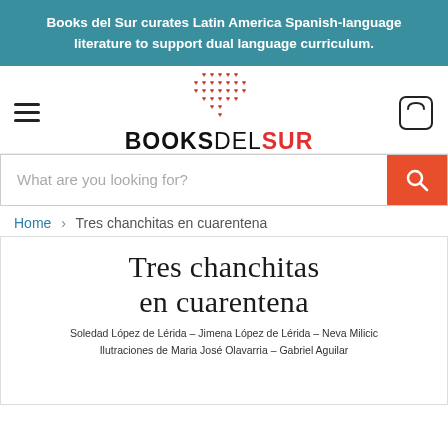Books del Sur curates Latin America Spanish-language literature to support dual language curriculum.
[Figure (logo): Books Del Sur logo with red heart-shaped dots pattern above the text BOOKSDELSUR in black and red]
What are you looking for?
Home > Tres chanchitas en cuarentena
Tres chanchitas en cuarentena
Soledad López de Lérida – Jimena López de Lérida – Neva Milicic
Ilustraciones de Maria José Olavarria – Gabriel Aguilar